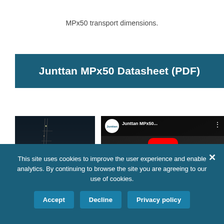MPx50 transport dimensions.
Junttan MPx50 Datasheet (PDF)
[Figure (photo): Night-time photo of a pile driving machine or crane structure]
[Figure (screenshot): YouTube video thumbnail showing Junttan MPx50 video with play button overlay and Junttan logo]
This site uses cookies to improve the user experience and enable analytics. By continuing to browse the site you are agreeing to our use of cookies.
Accept
Decline
Privacy policy